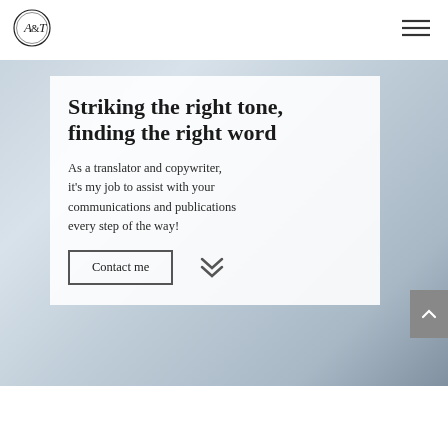[Figure (logo): Circular logo with stylized A&T letters inside a decorative circle border]
[Figure (illustration): Hamburger menu icon (three horizontal lines) in top right corner]
[Figure (photo): Background photo of handwritten script/notes, light blue-grey toned, blurred]
Striking the right tone, finding the right word
As a translator and copywriter, it's my job to assist with your communications and publications every step of the way!
Contact me
[Figure (illustration): Double chevron / down arrow icon in dark grey]
[Figure (illustration): Scroll-to-top button with upward chevron arrow on grey background, right edge]